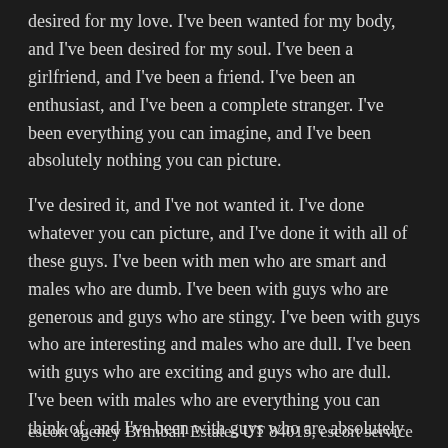desired for my love. I've been wanted for my body, and I've been desired for my soul. I've been a girlfriend, and I've been a friend. I've been an enthusiast, and I've been a complete stranger. I've been everything you can imagine, and I've been absolutely nothing you can picture.
I've desired it, and I've not wanted it. I've done whatever you can picture, and I've done it with all of these guys. I've been with men who are smart and males who are dumb. I've been with guys who are generous and guys who are stingy. I've been with guys who are interesting and males who are dull. I've been with guys who are exciting and guys who are dull. I've been with males who are everything you can think of, and I've been with guys who are absolutely nothing you can imagine.
escort agency Brimball Estates UT 84015, escort service